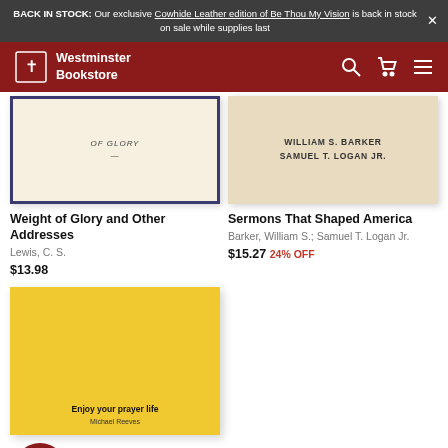BACK IN STOCK: Our exclusive Cowhide Leather edition of Be Thou My Vision is back in stock on sale while supplies last
[Figure (logo): Westminster Bookstore logo and navigation bar with search, cart, and menu icons]
[Figure (photo): Book cover: Weight of Glory and Other Addresses, dark blue border, cream background]
Weight of Glory and Other Addresses
Lewis, C. S.
$13.98
[Figure (photo): Book cover: Sermons That Shaped America, beige background, authors William S. Barker and Samuel T. Logan Jr.]
Sermons That Shaped America
Barker, William S.; Samuel T. Logan Jr.
$15.27 24% OFF
[Figure (photo): Book cover: Enjoy your prayer life by Michael Reeves, bright yellow cover]